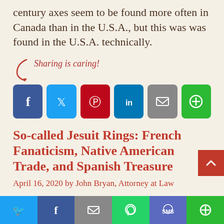century axes seem to be found more often in Canada than in the U.S.A., but this was was found in the U.S.A. technically.
[Figure (infographic): Sharing is caring! social share buttons: Facebook, Twitter, Pinterest, LinkedIn, Email, More]
So-called Jesuit Rings: French Fanaticism, Native American Trade, and Spanish Treasure
April 16, 2020 by John Bryan, Attorney at Law
[Figure (infographic): Bottom share bar with Twitter, Facebook, Email, WhatsApp, SMS, More buttons]